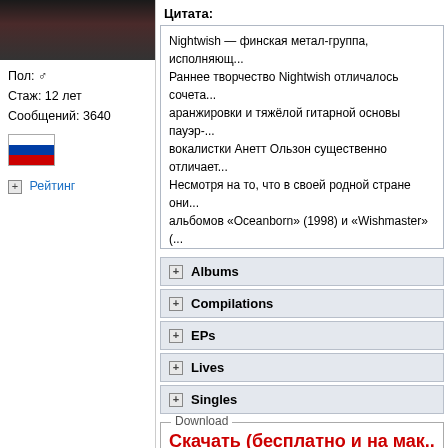[Figure (photo): User avatar photo, dark tones showing a person]
Пол: ♂
Стаж: 12 лет
Сообщений: 3640
[Figure (illustration): Russian flag icon]
+ Рейтинг
Цитата:
Nightwish — финская метал-группа, исполняющ... Раннее творчество Nightwish отличалось сочета... аранжировки и тяжёлой гитарной основы пауэр-... вокалистки Анетт Ользон существенно отличает... Несмотря на то, что в своей родной стране они... альбомов «Oceanborn» (1998) и «Wishmaster» (... В 2007 году группа выпустила новый альбом Da... пришла на смену бывшей солистке Тарье Турун...
+ Albums
+ Compilations
+ EPs
+ Lives
+ Singles
Download
Скачать (бесплатно и на мак...
Как скачивать · Что такое torrent (торрент)